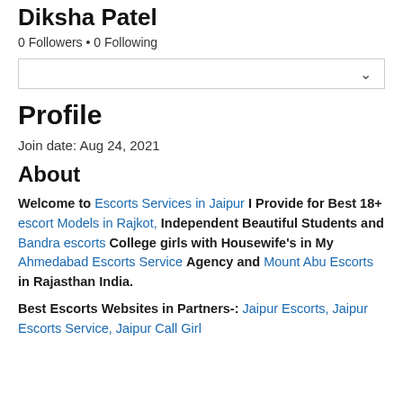Diksha Patel
0 Followers • 0 Following
Profile
Join date: Aug 24, 2021
About
Welcome to Escorts Services in Jaipur I Provide for Best 18+ escort Models in Rajkot, Independent Beautiful Students and Bandra escorts College girls with Housewife's in My Ahmedabad Escorts Service Agency and Mount Abu Escorts in Rajasthan India.
Best Escorts Websites in Partners-: Jaipur Escorts, Jaipur Escorts Service, Jaipur Call Girl Service, Jaipur Escort, Jaipur Call Girl...